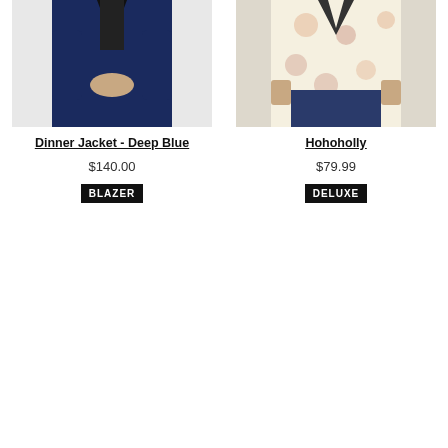[Figure (photo): Man wearing navy deep blue dinner jacket/blazer, dark shirt underneath, holding jacket closed]
[Figure (photo): Man wearing white/cream holiday patterned blazer with Santa Claus prints, dark jeans]
Dinner Jacket - Deep Blue
Hohoholly
$140.00
$79.99
BLAZER
DELUXE